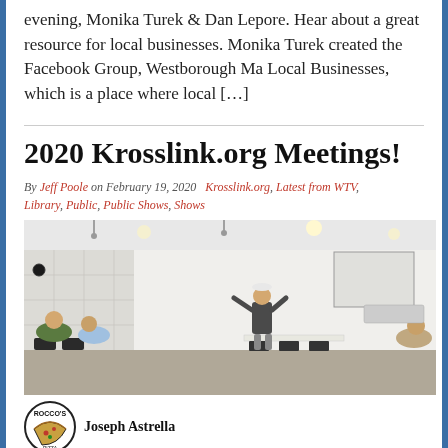evening, Monika Turek & Dan Lepore. Hear about a great resource for local businesses. Monika Turek created the Facebook Group, Westborough Ma Local Businesses, which is a place where local […]
2020 Krosslink.org Meetings!
By Jeff Poole on February 19, 2020  Krosslink.org, Latest from WTV, Library, Public, Public Shows, Shows
[Figure (photo): Photo of people in a meeting room with a presenter standing and gesturing, audience seated around the room]
Joseph Astrella